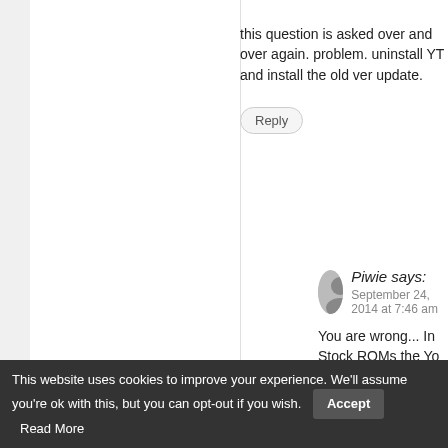this question is asked over and over again. problem. uninstall YT and install the old ver update.
Reply
Piwie says: September 24, 2014 at 7:46 am
You are wrong... In Stock ROMs the Yo ROM problem... NOT an app problem.
Reply
ItsPeet:Carbon says: September 24, 2014 at 8:33 pm
Are stock ROMs KitKat? No. It's a
Reply
This website uses cookies to improve your experience. We'll assume you're ok with this, but you can opt-out if you wish. Accept Read More